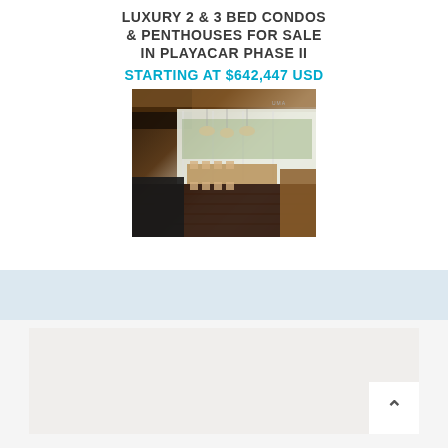LUXURY 2 & 3 BED CONDOS & PENTHOUSES FOR SALE IN PLAYACAR PHASE II
STARTING AT $642,447 USD
[Figure (photo): Interior rendering of a luxury condo showing a large open-plan dining and living area with floor-to-ceiling windows, long dining table with chairs, wooden floors, pendant lights, and views of tropical greenery. UMA logo visible in top right of image.]
[Figure (screenshot): Partial view of a website or listing page showing a light grey/beige content area with a white scroll-to-top button (chevron/arrow) in the bottom right corner.]